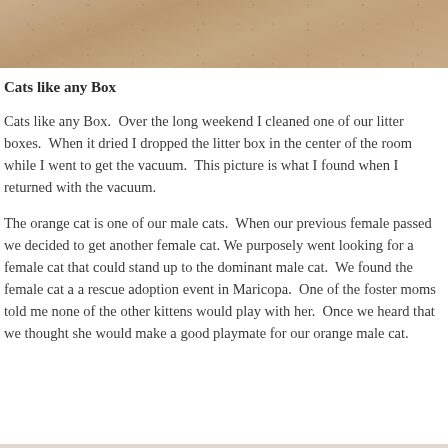[Figure (photo): Tan/brown textured photo banner at top of page, showing a close-up of a surface, likely a cat or litter box scene, in warm brown tones.]
Cats like any Box
Cats like any Box.  Over the long weekend I cleaned one of our litter boxes.  When it dried I dropped the litter box in the center of the room while I went to get the vacuum.  This picture is what I found when I returned with the vacuum.
The orange cat is one of our male cats.  When our previous female passed we decided to get another female cat. We purposely went looking for a female cat that could stand up to the dominant male cat.  We found the female cat a a rescue adoption event in Maricopa.  One of the foster moms told me none of the other kittens would play with her.  Once we heard that we thought she would make a good playmate for our orange male cat.